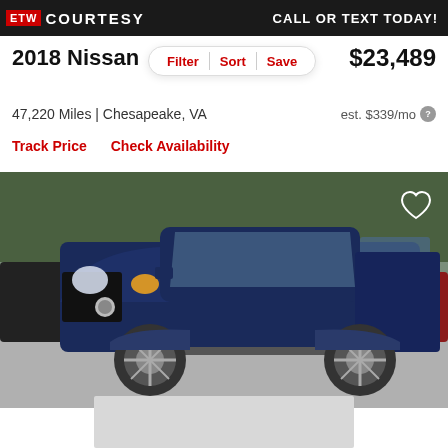ETW COURTESY | CALL OR TEXT TODAY!
2018 Nissan
$23,489
Filter | Sort | Save
47,220 Miles | Chesapeake, VA
est. $339/mo
Track Price   Check Availability
[Figure (photo): Blue 2018 Nissan Frontier pickup truck in a dealership lot, front 3/4 view, dark blue color, parked on concrete with other vehicles in background]